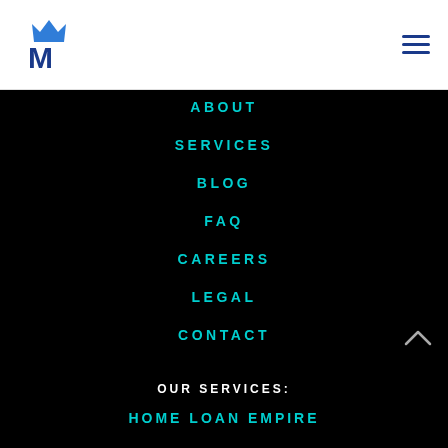[Figure (logo): Blue crown and M letter logo for mortgage/finance company]
ABOUT
SERVICES
BLOG
FAQ
CAREERS
LEGAL
CONTACT
OUR SERVICES:
HOME LOAN EMPIRE